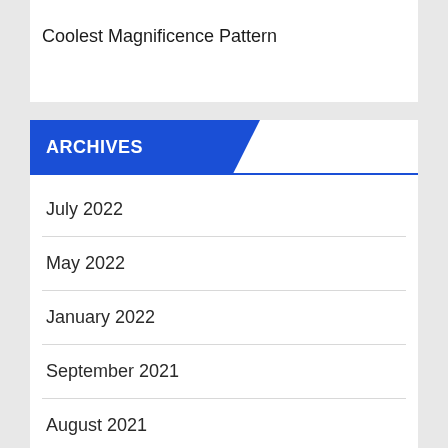Coolest Magnificence Pattern
ARCHIVES
July 2022
May 2022
January 2022
September 2021
August 2021